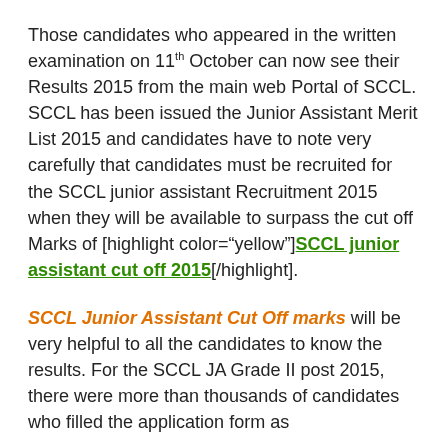Those candidates who appeared in the written examination on 11th October can now see their Results 2015 from the main web Portal of SCCL. SCCL has been issued the Junior Assistant Merit List 2015 and candidates have to note very carefully that candidates must be recruited for the SCCL junior assistant Recruitment 2015 when they will be available to surpass the cut off Marks of [highlight color="yellow"]SCCL junior assistant cut off 2015[/highlight].
SCCL Junior Assistant Cut Off marks will be very helpful to all the candidates to know the results. For the SCCL JA Grade II post 2015, there were more than thousands of candidates who filled the application form as